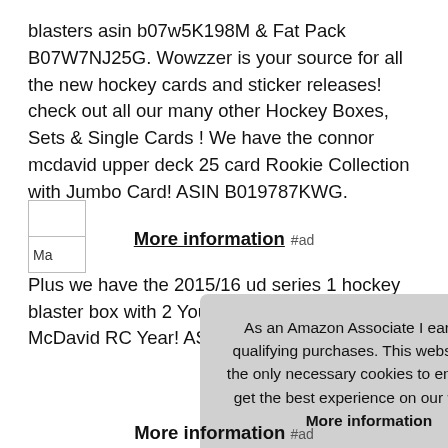blasters asin b07w5K198M & Fat Pack B07W7NJ25G. Wowzzer is your source for all the new hockey cards and sticker releases! check out all our many other Hockey Boxes, Sets & Single Cards ! We have the connor mcdavid upper deck 25 card Rookie Collection with Jumbo Card! ASIN B019787KWG.
More information #ad
Plus we have the 2015/16 ud series 1 hockey blaster box with 2 Young Gun Rookie Cards! McDavid RC Year! ASIN B0184R0Y4C.
As an Amazon Associate I earn from qualifying purchases. This website uses the only necessary cookies to ensure you get the best experience on our website. More information
More information #ad